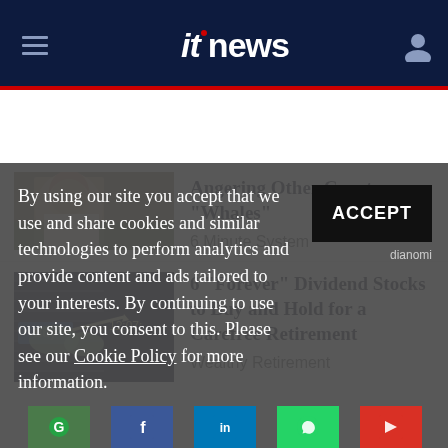[Figure (screenshot): ITnews site header with hamburger menu, itnews logo, and user icon on dark navy background with red accent line]
[Figure (photo): Partially visible thumbnail of a person in white shirt - cropped article image]
Angering Other Crypto "Whales"
6 Minute System
[Figure (photo): Stock trading screen showing Buy button and price 12:07 - article thumbnail]
6 "Forever" Dividend Stocks to Buy and Hold for a Carefree Retirement
Wealthy Retirement
By using our site you accept that we use and share cookies and similar technologies to perform analytics and provide content and ads tailored to your interests. By continuing to use our site, you consent to this. Please see our Cookie Policy for more information.
ACCEPT